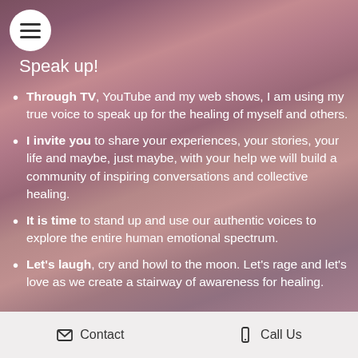Speak up!
Through TV, YouTube and my web shows, I am using my true voice to speak up for the healing of myself and others.
I invite you to share your experiences, your stories, your life and maybe, just maybe, with your help we will build a community of inspiring conversations and collective healing.
It is time to stand up and use our authentic voices to explore the entire human emotional spectrum.
Let's laugh, cry and howl to the moon. Let's rage and let's love as we create a stairway of awareness for healing.
Contact   Call Us